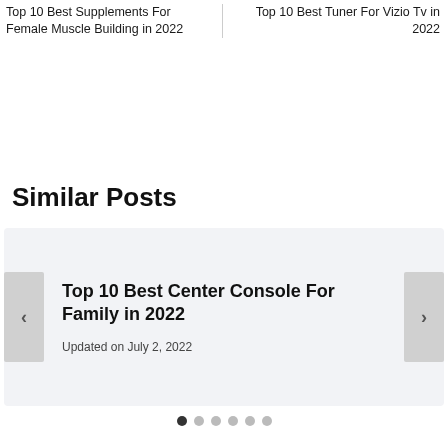Top 10 Best Supplements For Female Muscle Building in 2022
Top 10 Best Tuner For Vizio Tv in 2022
Similar Posts
Top 10 Best Center Console For Family in 2022
Updated on July 2, 2022